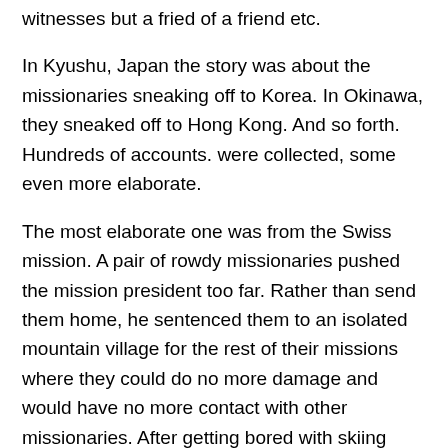witnesses but a fried of a friend etc.
In Kyushu, Japan the story was about the missionaries sneaking off to Korea. In Okinawa, they sneaked off to Hong Kong. And so forth. Hundreds of accounts. were collected, some even more elaborate.
The most elaborate one was from the Swiss mission. A pair of rowdy missionaries pushed the mission president too far. Rather than send them home, he sentenced them to an isolated mountain village for the rest of their missions where they could do no more damage and would have no more contact with other missionaries. After getting bored with skiing every day, they absconded an old VW minibus and headed out,